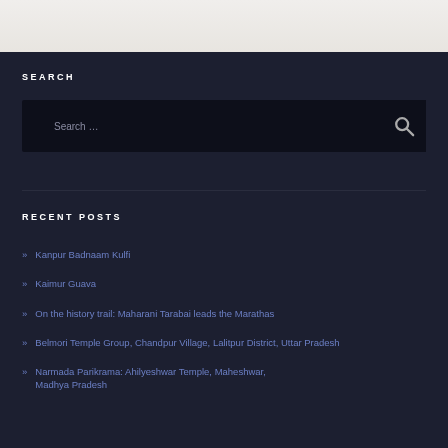[Figure (photo): Light-colored textured background image area at the top of the page]
SEARCH
Search …
RECENT POSTS
» Kanpur Badnaam Kulfi
» Kaimur Guava
» On the history trail: Maharani Tarabai leads the Marathas
» Belmori Temple Group, Chandpur Village, Lalitpur District, Uttar Pradesh
» Narmada Parikrama: Ahilyeshwar Temple, Maheshwar, Madhya Pradesh